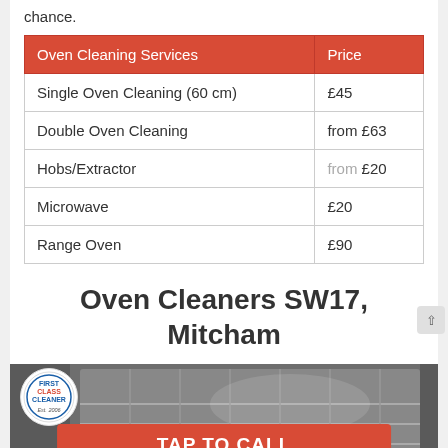chance.
| Oven Cleaning Services | Price |
| --- | --- |
| Single Oven Cleaning (60 cm) | £45 |
| Double Oven Cleaning | from £63 |
| Hobs/Extractor | from £20 |
| Microwave | £20 |
| Range Oven | £90 |
Oven Cleaners SW17, Mitcham
[Figure (photo): Photo of a clean oven interior with First Class Cleaner logo badge and a red TAP TO CALL button overlay]